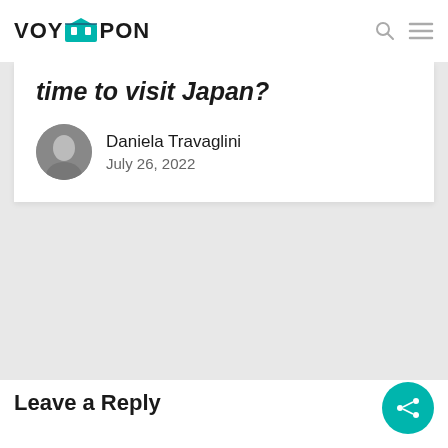VOYAPON
time to visit Japan?
Daniela Travaglini
July 26, 2022
Leave a Reply
[Figure (other): Comment text area input box (light gray)]